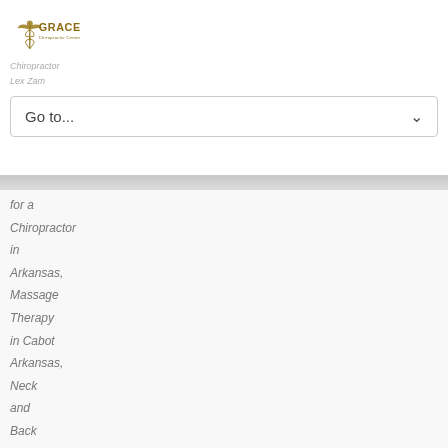[Figure (logo): Grace Chiropractic Center logo with caduceus symbol and text]
Chiropractor
Lex Zam
Go to...
for a Chiropractor in Arkansas, Massage Therapy in Cabot Arkansas, Neck and Back Pain Cabot, Neck and